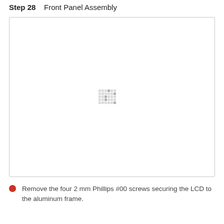Step 28    Front Panel Assembly
[Figure (photo): Large white empty image area with a faint pixel/checkerboard pattern near the center, representing a front panel assembly diagram placeholder.]
Remove the four 2 mm Phillips #00 screws securing the LCD to the aluminum frame.